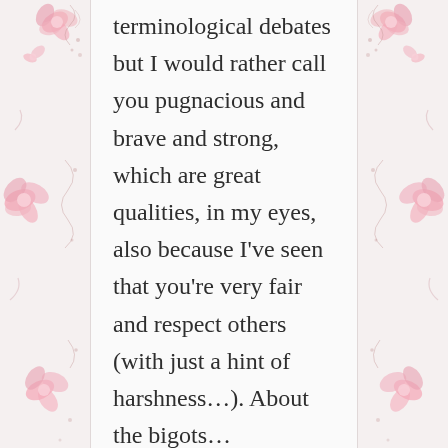[Figure (illustration): Pink floral and swirl decorative border on left and right sides of the page]
terminological debates but I would rather call you pugnacious and brave and strong, which are great qualities, in my eyes, also because I've seen that you're very fair and respect others (with just a hint of harshness...). About the bigots...